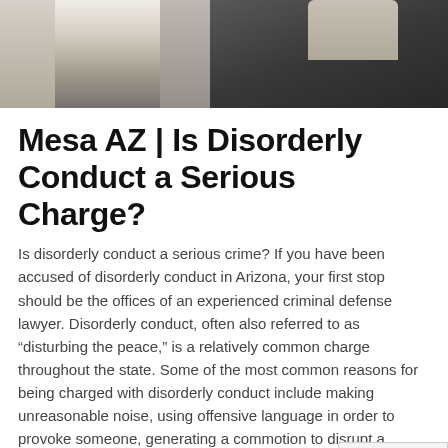[Figure (photo): Photo showing partial view of a person in white shirt and another figure in dark clothing, likely depicting an arrest or confrontation scenario]
Mesa AZ | Is Disorderly Conduct a Serious Charge?
Is disorderly conduct a serious crime? If you have been accused of disorderly conduct in Arizona, your first stop should be the offices of an experienced criminal defense lawyer. Disorderly conduct, often also referred to as “disturbing the peace,” is a relatively common charge throughout the state. Some of the most common reasons for being charged with disorderly conduct include making unreasonable noise, using offensive language in order to provoke someone, generating a commotion to disrupt a business, engaging in seriously disruptive behavior like fighting, recklessly handling a firearm, or refusing to leave a physical location after being requested to do so by authorities.